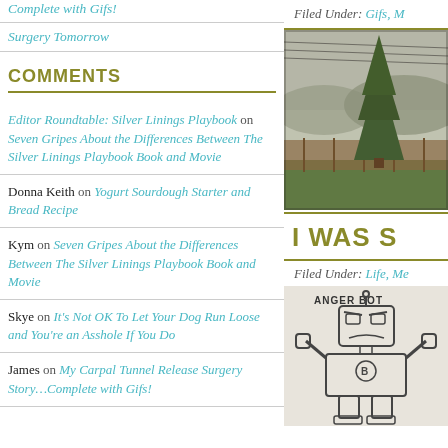Complete with Gifs!
Surgery Tomorrow
COMMENTS
Editor Roundtable: Silver Linings Playbook on Seven Gripes About the Differences Between The Silver Linings Playbook Book and Movie
Donna Keith on Yogurt Sourdough Starter and Bread Recipe
Kym on Seven Gripes About the Differences Between The Silver Linings Playbook Book and Movie
Skye on It's Not OK To Let Your Dog Run Loose and You're an Asshole If You Do
James on My Carpal Tunnel Release Surgery Story...Complete with Gifs!
Filed Under: Gifs, M…
[Figure (photo): Outdoor photo showing a pine tree against overcast sky with mountains and wooden fence in background]
I WAS S…
Filed Under: Life, Me…
[Figure (illustration): Hand-drawn illustration of an angry robot labeled 'ANGER BOT' with raised fists]